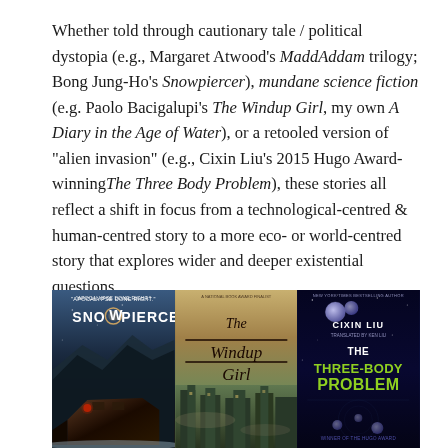Whether told through cautionary tale / political dystopia (e.g., Margaret Atwood's MaddAddam trilogy; Bong Jung-Ho's Snowpiercer), mundane science fiction (e.g. Paolo Bacigalupi's The Windup Girl, my own A Diary in the Age of Water), or a retooled version of "alien invasion" (e.g., Cixin Liu's 2015 Hugo Award-winning The Three Body Problem), these stories all reflect a shift in focus from a technological-centred & human-centred story to a more eco- or world-centred story that explores wider and deeper existential questions.
[Figure (photo): Three book covers side by side: Snowpiercer (film tie-in cover showing a train in a frozen world), The Windup Girl by Paolo Bacigalupi (showing a futuristic city), and The Three-Body Problem by Cixin Liu (blue space-themed cover with green title text).]